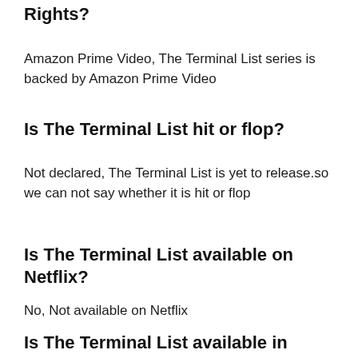Rights?
Amazon Prime Video, The Terminal List series is backed by Amazon Prime Video
Is The Terminal List hit or flop?
Not declared, The Terminal List is yet to release.so we can not say whether it is hit or flop
Is The Terminal List available on Netflix?
No, Not available on Netflix
Is The Terminal List available in